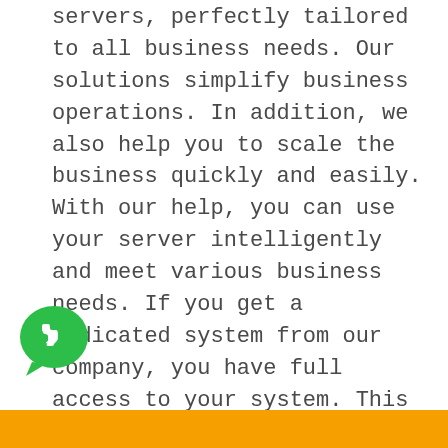servers, perfectly tailored to all business needs. Our solutions simplify business operations. In addition, we also help you to scale the business quickly and easily. With our help, you can use your server intelligently and meet various business needs. If you get a dedicated system from our company, you have full access to your system. This ensures that there is no risk of sharing their system space with malicious websites. Furthermore, some attacks from cyber-attacks are avoided. When it comes to our dedicated system, they have a unique and secure IP address. Help protect your business website from potential security problems. This type of hosting solution also avoids server crashes and ensures that your website ves more traffic.
[Figure (logo): WhatsApp green logo icon]